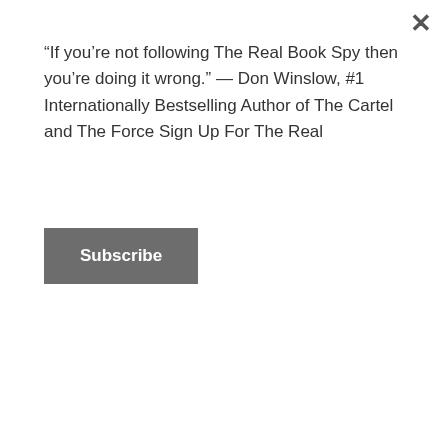“If you’re not following The Real Book Spy then you’re doing it wrong.” — Don Winslow, #1 Internationally Bestselling Author of The Cartel and The Force Sign Up For The Real
Subscribe
Hauty
[Figure (photo): Book cover of Savage Road by Chris Hauty with yellow text on dark blue background]
AMERICA IS THREATENED BY CYBER ATTACKS
ONLY ONE WOMAN CAN PUT A STOP TO THEM
Advertisements
[Figure (photo): ULTA beauty advertisement banner with makeup imagery and SHOP NOW call to action]